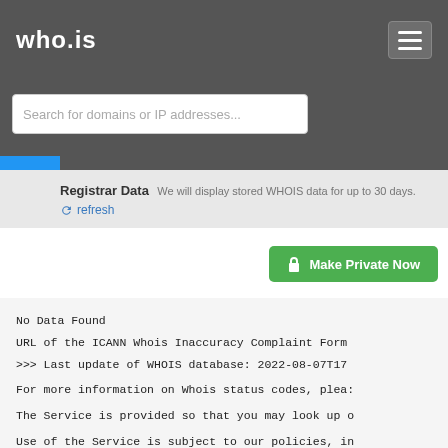who.is
Search for domains or IP addresses...
Registrar Data We will display stored WHOIS data for up to 30 days.
refresh
Make Private Now
No Data Found
URL of the ICANN Whois Inaccuracy Complaint Form
>>> Last update of WHOIS database: 2022-08-07T17

For more information on Whois status codes, plea:

The Service is provided so that you may look up o

Use of the Service is subject to our policies, in

The information provided by this Service is 'as :